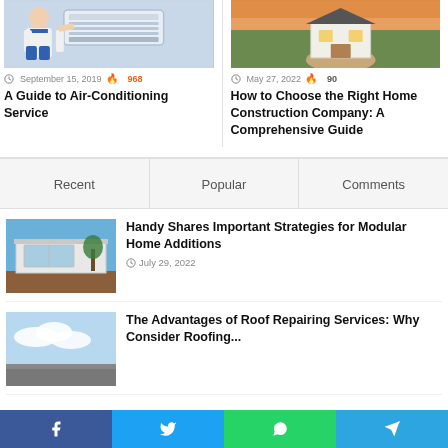[Figure (photo): Technician servicing an air conditioning unit]
September 15, 2019  968
A Guide to Air-Conditioning Service
[Figure (photo): A small house held in a person's hands over a green field]
May 27, 2022  90
How to Choose the Right Home Construction Company: A Comprehensive Guide
Recent | Popular | Comments
[Figure (photo): Modern modular home exterior with large windows and wooden deck]
Handy Shares Important Strategies for Modular Home Additions
July 29, 2022
[Figure (photo): Partial view of a roof or sky with clouds]
The Advantages of Roof Repairing Services: Why Consider Roofing...